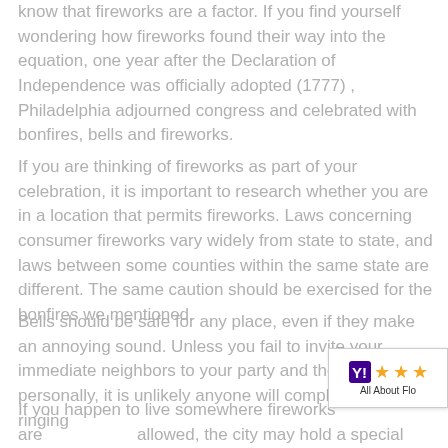know that fireworks are a factor. If you find yourself wondering how fireworks found their way into the equation, one year after the Declaration of Independence was officially adopted (1777) , Philadelphia adjourned congress and celebrated with bonfires, bells and fireworks.
If you are thinking of fireworks as part of your celebration, it is important to research whether you are in a location that permits fireworks. Laws concerning consumer fireworks vary widely from state to state, and laws between some counties within the same state are different. The same caution should be exercised for the bonfires we mentioned.
Bells should be safe for any place, even if they make an annoying sound. Unless you fail to invite your immediate neighbors to your party and they take it personally, it is unlikely anyone will complain about the ringing
[Figure (other): A small rating widget showing a logo with 'Y!' and three orange stars, labeled 'All About Flo' (truncated)]
If you happen to live somewhere fireworks are allowed, the city may hold a special event that fireworks. If that is the case, find out where a g